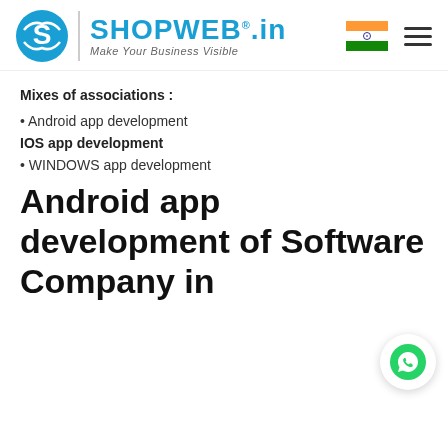[Figure (logo): SHOPWEB.in logo with tagline 'Make Your Business Visible', Indian flag icon, and hamburger menu icon]
Mixes of associations :
• Android app development
IOS app development
• WINDOWS app development
Android app development of Software Company in
[Figure (logo): WhatsApp icon in a white circular bubble]